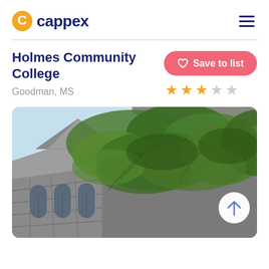[Figure (logo): Cappex logo with orange C icon and dark blue 'cappex' wordmark]
Holmes Community College
Goodman, MS
[Figure (photo): Photo of an ivy-covered stone building (Holmes Community College campus) against a light blue sky, with arched windows visible]